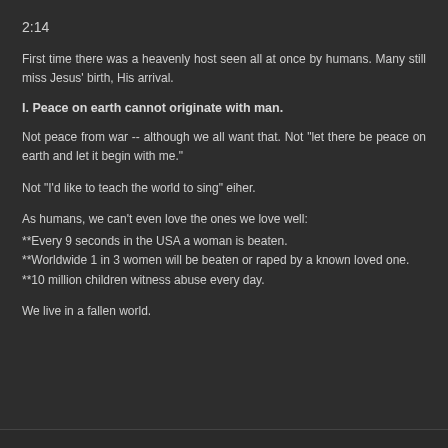2:14
First time there was a heavenly host seen all at once by humans. Many still miss Jesus' birth, His arrival.
I. Peace on earth cannot originate with man.
Not peace from war -- although we all want that. Not "let there be peace on earth and let it begin with me."
Not "I'd like to teach the world to sing" eiher.
As humans, we can't even love the ones we love well:
**Every 9 seconds in the USA a woman is beaten.
**Worldwide 1 in 3 women will be beaten or raped by a known loved one.
**10 million children witness abuse every day.
We live in a fallen world.